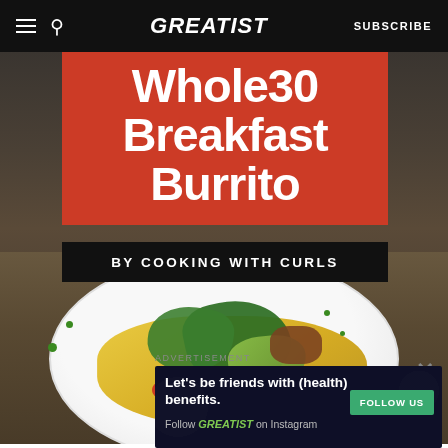GREATIST | SUBSCRIBE
[Figure (photo): Wholesome breakfast burrito bowl in a white plate with scrambled eggs, green peppers, avocado slices, meat, tomato, and green onion chives on a wooden table background. Red overlay box with white bold text reading 'Whole30 Breakfast Burrito'. Black bar below reading 'BY COOKING WITH CURLS'.]
ADVERTISEMENT
[Figure (screenshot): Dark navy advertisement banner: 'Let's be friends with (health) benefits. Follow GREATIST on Instagram' with a green FOLLOW US button.]